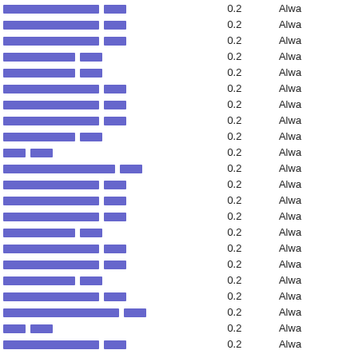| Link | Value | Status |
| --- | --- | --- |
| [redacted link] | 0.2 | Alwa |
| [redacted link] | 0.2 | Alwa |
| [redacted link] | 0.2 | Alwa |
| [redacted link] | 0.2 | Alwa |
| [redacted link] | 0.2 | Alwa |
| [redacted link] | 0.2 | Alwa |
| [redacted link] | 0.2 | Alwa |
| [redacted link] | 0.2 | Alwa |
| [redacted link] | 0.2 | Alwa |
| [redacted link] | 0.2 | Alwa |
| [redacted link] | 0.2 | Alwa |
| [redacted link] | 0.2 | Alwa |
| [redacted link] | 0.2 | Alwa |
| [redacted link] | 0.2 | Alwa |
| [redacted link] | 0.2 | Alwa |
| [redacted link] | 0.2 | Alwa |
| [redacted link] | 0.2 | Alwa |
| [redacted link] | 0.2 | Alwa |
| [redacted link] | 0.2 | Alwa |
| [redacted link] | 0.2 | Alwa |
| [redacted link] | 0.2 | Alwa |
| [redacted link] | 0.2 | Alwa |
| [redacted link] | 0.2 | Alwa |